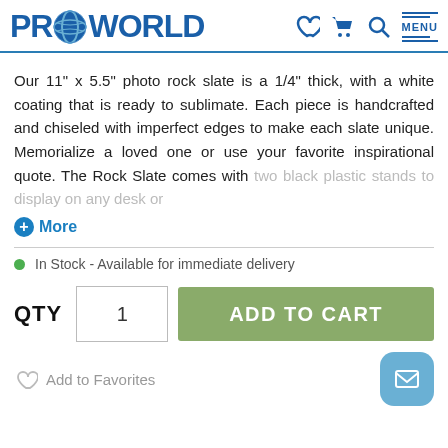PRO WORLD
Our 11" x 5.5" photo rock slate is a 1/4" thick, with a white coating that is ready to sublimate. Each piece is handcrafted and chiseled with imperfect edges to make each slate unique. Memorialize a loved one or use your favorite inspirational quote. The Rock Slate comes with two black plastic stands to display on any desk or
+ More
In Stock - Available for immediate delivery
QTY  1  ADD TO CART
Add to Favorites